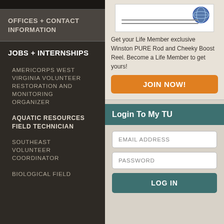OFFICES + CONTACT INFORMATION
JOBS + INTERNSHIPS
AMERICORPS WEST VIRGINIA VOLUNTEER RESTORATION AND MONITORING ORGANIZER
AQUATIC RESOURCES FIELD TECHNICIAN
SOUTHEAST VOLUNTEER COORDINATOR
BIOLOGICAL FIELD
[Figure (illustration): Logo/globe illustration with horizontal lines below it]
Get your Life Member exclusive Winston PURE Rod and Cheeky Boost Reel. Become a Life Member to get yours!
JOIN NOW!
Login To My TU
EMAIL ADDRESS
PASSWORD
LOG IN